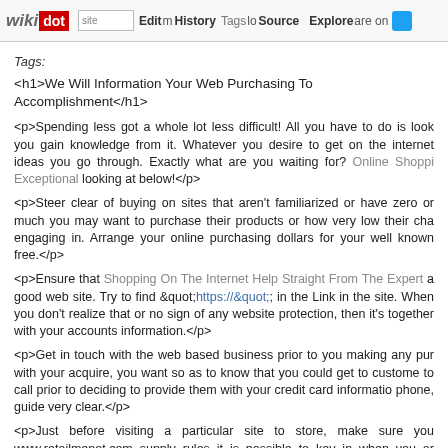wikidot | site Edit History Tags Source Explore Share on [twitter]
Tags:
<h1>We Will Information Your Web Purchasing To Accomplishment</h1>
<p>Spending less got a whole lot less difficult! All you have to do is look you gain knowledge from it. Whatever you desire to get on the internet ideas you go through. Exactly what are you waiting for? Online Shopping Exceptional looking at below!</p>
<p>Steer clear of buying on sites that aren't familiarized or have zero or much you may want to purchase their products or how very low their charges engaging in. Arrange your online purchasing dollars for your well known free.</p>
<p>Ensure that Shopping On The Internet Help Straight From The Experts a good web site. Try to find &quot;https://&quot; in the Link in the site. When you don't realize that or no sign of any website protection, then it's together with your accounts information.</p>
<p>Get in touch with the web based business prior to you making any purchase with your acquire, you want so as to know that you could get to customer to call prior to deciding to provide them with your credit card information phone, guide very clear.</p>
<p>Just before visiting a particular site to store, make sure you www.retailmenot.com supply rules it is possible to key in when you are discount codes is going to take cash off your whole purchase while others freight.</p>